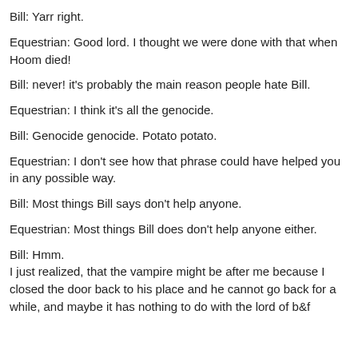Bill: Yarr right.
Equestrian: Good lord. I thought we were done with that when Hoom died!
Bill: never! it's probably the main reason people hate Bill.
Equestrian: I think it's all the genocide.
Bill: Genocide genocide. Potato potato.
Equestrian: I don't see how that phrase could have helped you in any possible way.
Bill: Most things Bill says don't help anyone.
Equestrian: Most things Bill does don't help anyone either.
Bill: Hmm.
I just realized, that the vampire might be after me because I closed the door back to his place and he cannot go back for a while, and maybe it has nothing to do with the lord of b&f